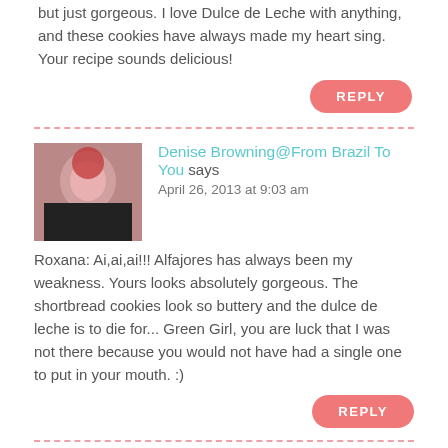but just gorgeous. I love Dulce de Leche with anything, and these cookies have always made my heart sing. Your recipe sounds delicious!
REPLY
Denise Browning@From Brazil To You says
April 26, 2013 at 9:03 am
Roxana: Ai,ai,ai!!! Alfajores has always been my weakness. Yours looks absolutely gorgeous. The shortbread cookies look so buttery and the dulce de leche is to die for... Green Girl, you are luck that I was not there because you would not have had a single one to put in your mouth. :)
REPLY
Shanna@ pineapple and coconut says
April 26, 2013 at 9:25 am
GORGEOUS!! And I LOVE Dulce De Leche. I need to make